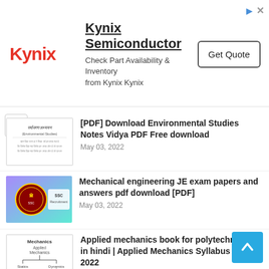[Figure (infographic): Kynix Semiconductor advertisement banner with logo, text 'Kynix Semiconductor - Check Part Availability & Inventory from Kynix Kynix' and a Get Quote button]
[PDF] Download Environmental Studies Notes Vidya PDF Free download
May 03, 2022
Mechanical engineering JE exam papers and answers pdf download [PDF]
May 03, 2022
Applied mechanics book for polytechnic pdf in hindi | Applied Mechanics Syllabus 2021-2022
November 21, 2021